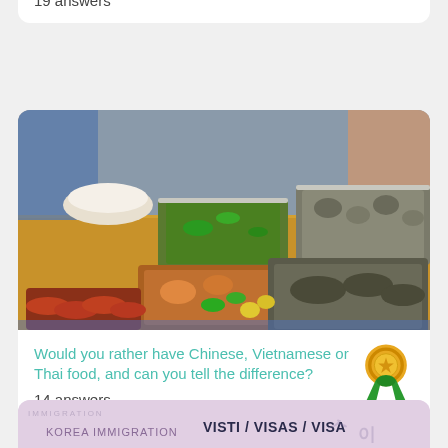Does even the thought of a snake frighten you?
19 answers
[Figure (photo): Photo of a street food stall with multiple trays of Asian food including grilled fish, sausages, vegetables, and other dishes on a wooden table]
Would you rather have Chinese, Vietnamese or Thai food, and can you tell the difference?
14 answers
[Figure (photo): Partial view of a passport showing Korea Immigration stamp and text VISTI / VISAS / VISA]